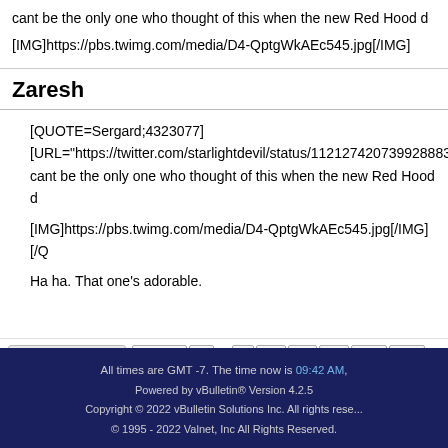cant be the only one who thought of this when the new Red Hood d
[IMG]https://pbs.twimg.com/media/D4-QptgWkAEc545.jpg[/IMG]
Zaresh
[QUOTE=Sergard;4323077]
[URL="https://twitter.com/starlightdevil/status/11212742073992888...
cant be the only one who thought of this when the new Red Hood d

[IMG]https://pbs.twimg.com/media/D4-QptgWkAEc545.jpg[/IMG][/Q

Ha ha. That one’s adorable.
Page 103 of 285 | First | 3 53 93 99 100 101 102 103 153 203 ... Last
All times are GMT -7. The time now is 09:42 AM. Powered by vBulletin® Version 4.2.5. Copyright © 2022 vBulletin Solutions Inc. All rights reserved. © 1995 - 2022 Valnet, Inc All Rights Reserved.